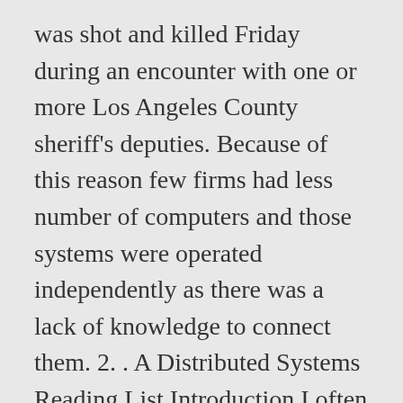was shot and killed Friday during an encounter with one or more Los Angeles County sheriff's deputies. Because of this reason few firms had less number of computers and those systems were operated independently as there was a lack of knowledge to connect them. 2. . A Distributed Systems Reading List Introduction I often argue that the toughest thing about distributed systems is changing the way you think. Major topics include fault tolerance, replication, and consistency. The CSU draws its students from the top third of the state's high school graduates and is California's primary undergraduate teaching institution. This lecture note discusses the principles in the